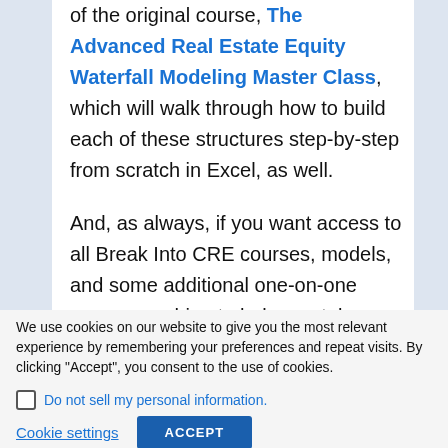of the original course, The Advanced Real Estate Equity Waterfall Modeling Master Class, which will walk through how to build each of these structures step-by-step from scratch in Excel, as well.

And, as always, if you want access to all Break Into CRE courses, models, and some additional one-on-one career coaching to help you take
We use cookies on our website to give you the most relevant experience by remembering your preferences and repeat visits. By clicking "Accept", you consent to the use of cookies.
Do not sell my personal information.
Cookie settings
ACCEPT